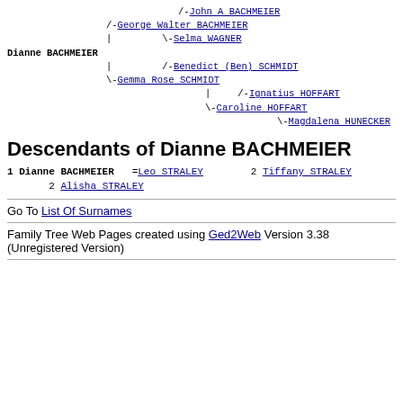[Figure (other): Genealogical ancestry tree showing parents and grandparents of Dianne BACHMEIER in ASCII/monospace tree format]
Descendants of Dianne BACHMEIER
1 Dianne BACHMEIER
=Leo STRALEY
  2 Tiffany STRALEY
  2 Alisha STRALEY
Go To List Of Surnames
Family Tree Web Pages created using Ged2Web Version 3.38 (Unregistered Version)